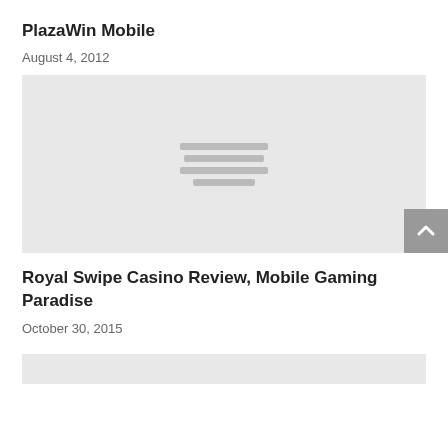PlazaWin Mobile
August 4, 2012
[Figure (illustration): Placeholder image with light gray background and three horizontal gray lines resembling a loading/broken image icon]
Royal Swipe Casino Review, Mobile Gaming Paradise
October 30, 2015
[Figure (illustration): Partial placeholder image strip at bottom of page with light gray background]